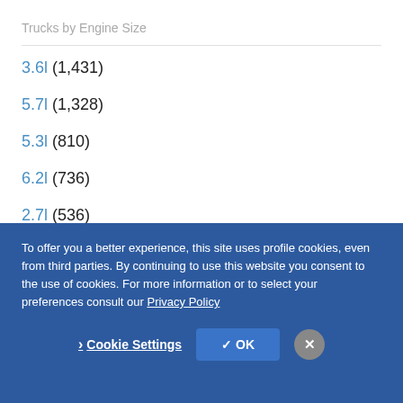Trucks by Engine Size
3.6l (1,431)
5.7l (1,328)
5.3l (810)
6.2l (736)
2.7l (536)
View All
To offer you a better experience, this site uses profile cookies, even from third parties. By continuing to use this website you consent to the use of cookies. For more information or to select your preferences consult our Privacy Policy
Cookie Settings  ✓ OK  ✕